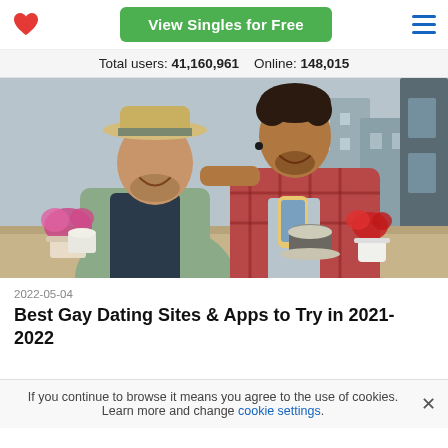View Singles for Free
Total users: 41,160,961   Online: 148,015
[Figure (photo): Two men smiling and looking at a smartphone together at an outdoor cafe table, one wearing a straw hat, flowers visible on the table]
2022-05-04
Best Gay Dating Sites & Apps to Try in 2021-2022
If you continue to browse it means you agree to the use of cookies. Learn more and change cookie settings.